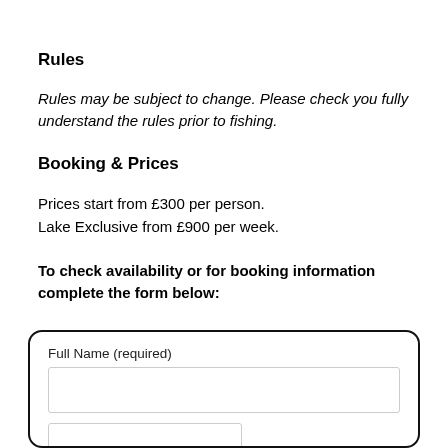Rules
Rules may be subject to change. Please check you fully understand the rules prior to fishing.
Booking & Prices
Prices start from £300 per person.
Lake Exclusive from £900 per week.
To check availability or for booking information complete the form below:
[Figure (other): A web form with rounded border containing a 'Full Name (required)' label and an input field, with another partial input field visible at the bottom.]